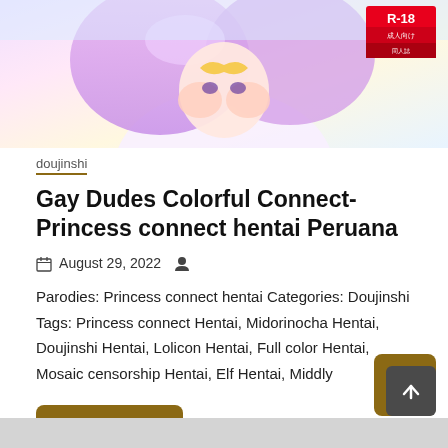[Figure (illustration): Anime-style illustration of a character with purple/pink hair and a yellow bow, with an R-18 badge in the top right corner]
doujinshi
Gay Dudes Colorful Connect- Princess connect hentai Peruana
August 29, 2022
Parodies: Princess connect hentai Categories: Doujinshi Tags: Princess connect Hentai, Midorinocha Hentai, Doujinshi Hentai, Lolicon Hentai, Full color Hentai, Mosaic censorship Hentai, Elf Hentai, Middly
Read Now